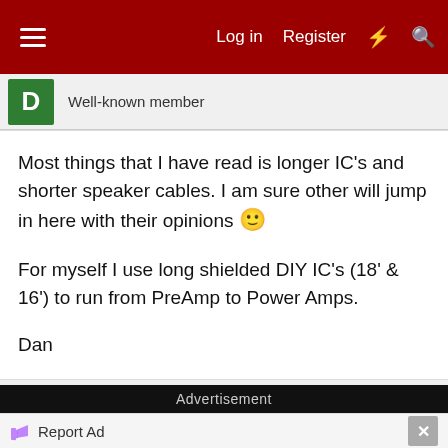Log in  Register
Well-known member
Most things that I have read is longer IC's and shorter speaker cables. I am sure other will jump in here with their opinions 🙂

For myself I use long shielded DIY IC's (18' & 16') to run from PreAmp to Power Amps.

Dan
Advertisement
Report Ad